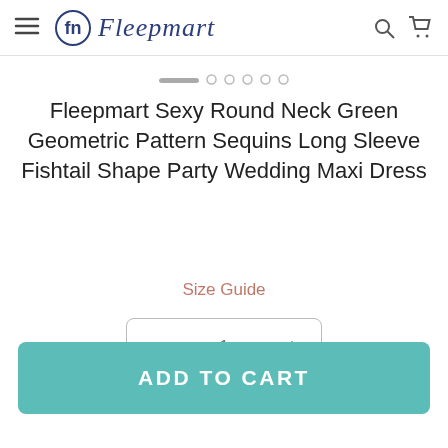Fleepmart
Fleepmart Sexy Round Neck Green Geometric Pattern Sequins Long Sleeve Fishtail Shape Party Wedding Maxi Dress
Size Guide
- 1 +
ADD TO CART